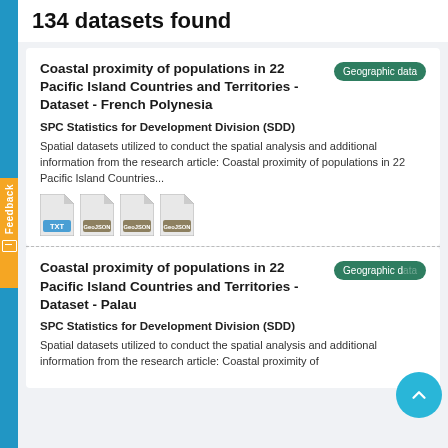134 datasets found
Coastal proximity of populations in 22 Pacific Island Countries and Territories - Dataset - French Polynesia
SPC Statistics for Development Division (SDD)
Spatial datasets utilized to conduct the spatial analysis and additional information from the research article: Coastal proximity of populations in 22 Pacific Island Countries...
[Figure (other): File type icons: TXT, GeoJSON, GeoJSON, GeoJSON]
Coastal proximity of populations in 22 Pacific Island Countries and Territories - Dataset - Palau
SPC Statistics for Development Division (SDD)
Spatial datasets utilized to conduct the spatial analysis and additional information from the research article: Coastal proximity of